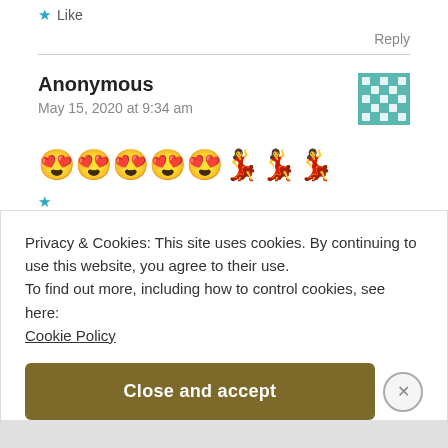★ Like
Reply
Anonymous
May 15, 2020 at 9:34 am
😍😍😍😍😍💃💃💃
Privacy & Cookies: This site uses cookies. By continuing to use this website, you agree to their use.
To find out more, including how to control cookies, see here:
Cookie Policy
Close and accept